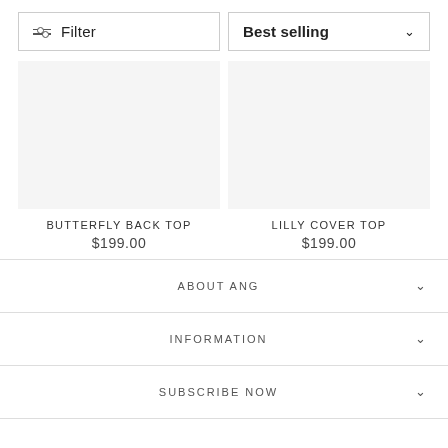Filter
Best selling
[Figure (photo): Product image placeholder for Butterfly Back Top]
BUTTERFLY BACK TOP
$199.00
[Figure (photo): Product image placeholder for Lilly Cover Top]
LILLY COVER TOP
$199.00
ABOUT ANG
INFORMATION
SUBSCRIBE NOW